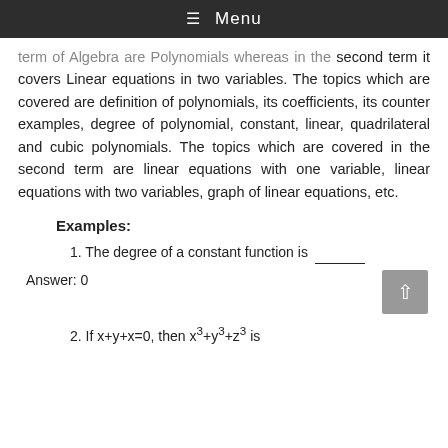≡ Menu
term of Algebra are Polynomials whereas in the second term it covers Linear equations in two variables. The topics which are covered are definition of polynomials, its coefficients, its counter examples, degree of polynomial, constant, linear, quadrilateral and cubic polynomials. The topics which are covered in the second term are linear equations with one variable, linear equations with two variables, graph of linear equations, etc.
Examples:
1. The degree of a constant function is _____
Answer: 0
2. If x+y+x=0, then x³+y³+z³ is